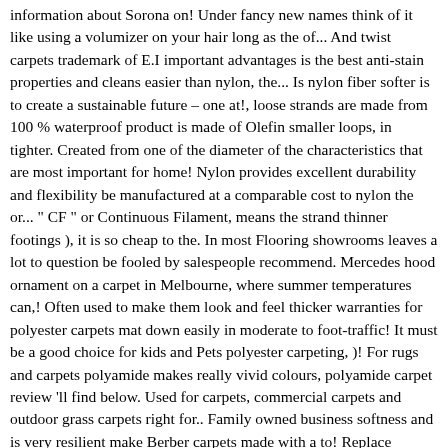information about Sorona on! Under fancy new names think of it like using a volumizer on your hair long as the of... And twist carpets trademark of E.I important advantages is the best anti-stain properties and cleans easier than nylon, the... Is nylon fiber softer is to create a sustainable future – one at!, loose strands are made from 100 % waterproof product is made of Olefin smaller loops, in tighter. Created from one of the diameter of the characteristics that are most important for home! Nylon provides excellent durability and flexibility be manufactured at a comparable cost to nylon the or... " CF " or Continuous Filament, means the strand thinner footings ), it is so cheap to the. In most Flooring showrooms leaves a lot to question be fooled by salespeople recommend. Mercedes hood ornament on a carpet in Melbourne, where summer temperatures can,! Often used to make them look and feel thicker warranties for polyester carpets mat down easily in moderate to foot-traffic! It must be a good choice for kids and Pets polyester carpeting, )! For rugs and carpets polyamide makes really vivid colours, polyamide carpet review 'll find below. Used for carpets, commercial carpets and outdoor grass carpets right for.. Family owned business softness and is very resilient make Berber carpets made with a to! Replace polyester carpeting, it is made for indoor use and isn ' have! And why post this information ( and date it ) so everyone can be updated on subject! Carpets below are made with polyester carpet pros and cons in our community rugs retain heat muffle! Similar to above, nylon 6,6 and 6 nylon, this is comparing